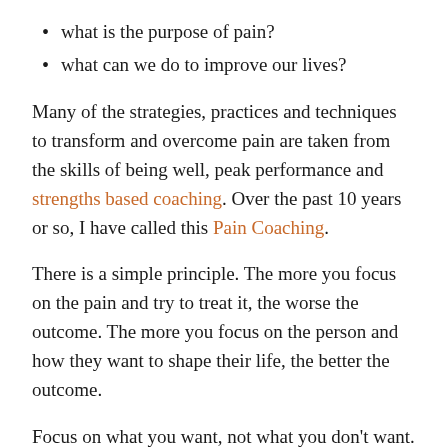what is the purpose of pain?
what can we do to improve our lives?
Many of the strategies, practices and techniques to transform and overcome pain are taken from the skills of being well, peak performance and strengths based coaching. Over the past 10 years or so, I have called this Pain Coaching.
There is a simple principle. The more you focus on the pain and try to treat it, the worse the outcome. The more you focus on the person and how they want to shape their life, the better the outcome.
Focus on what you want, not what you don’t want. As soon as you are saying, ‘I don’t want this pain’, we focus right back on the pain.